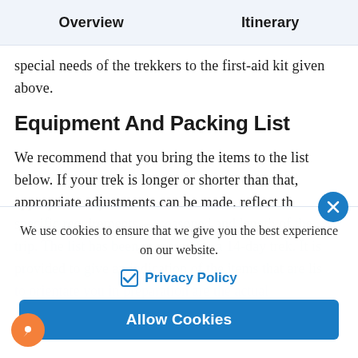Overview   Itinerary
special needs of the trekkers to the first-aid kit given above.
Equipment And Packing List
We recommend that you bring the items to the list below. If your trek is longer or shorter than that, appropriate adjustments can be made, reflect th
We use cookies to ensure that we give you the best experience on our website.
Privacy Policy
Allow Cookies